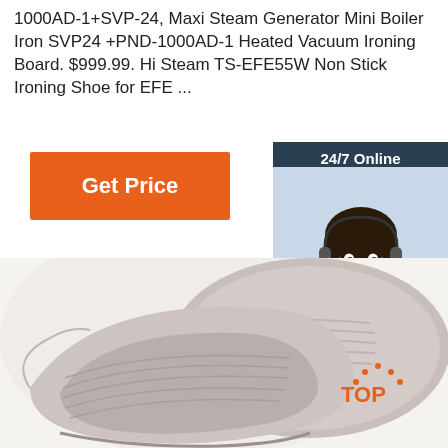1000AD-1+SVP-24, Maxi Steam Generator Mini Boiler Iron SVP24 +PND-1000AD-1 Heated Vacuum Ironing Board. $999.99. Hi Steam TS-EFE55W Non Stick Ironing Shoe for EFE ...
Get Price
[Figure (infographic): 24/7 Online chat widget with woman wearing headset, 'Click here for free chat!' text, and orange QUOTATION button]
[Figure (photo): Ceramic or silicone ironing shoe products in beige/grey color stacked together]
[Figure (logo): TOP logo with orange dotted arch above the word TOP]